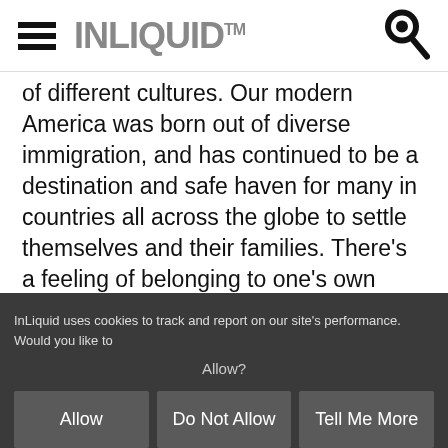INLIQUID™
of different cultures. Our modern America was born out of diverse immigration, and has continued to be a destination and safe haven for many in countries all across the globe to settle themselves and their families. There's a feeling of belonging to one's own tribe–ethnic, religious, or otherwise–as well as being a part of the overall fabric of America, stitched together by core beliefs of freedom, opportunity, and equality. This diversity of ideas and cultures has been what makes this country extraordinary, inspiring,
InLiquid uses cookies to track and report on our site's performance. Would you like to Allow?
Allow
Do Not Allow
Tell Me More